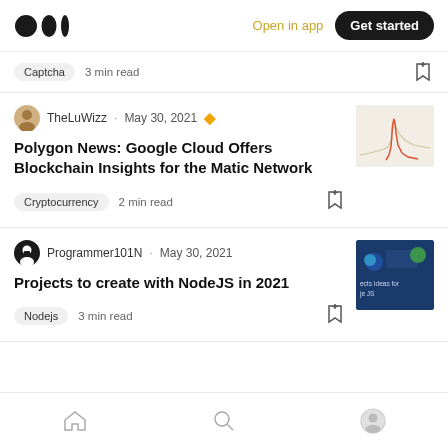Medium logo | Open in app | Get started
Captcha  3 min read
TheLuWizz · May 30, 2021
Polygon News: Google Cloud Offers Blockchain Insights for the Matic Network
Cryptocurrency  2 min read
Programmer101N · May 30, 2021
Projects to create with NodeJS in 2021
Nodejs  3 min read